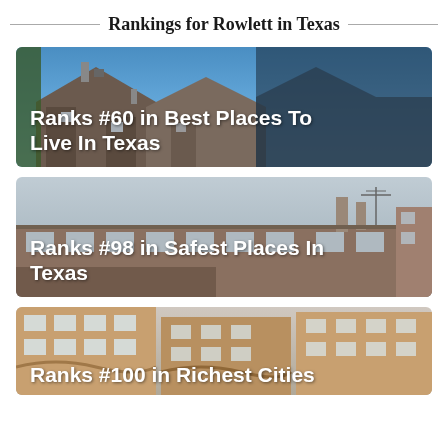Rankings for Rowlett in Texas
[Figure (photo): Photo of house rooftops against a blue sky with text overlay: Ranks #60 in Best Places To Live In Texas]
[Figure (photo): Photo of brick rooftops and chimneys against an overcast sky with text overlay: Ranks #98 in Safest Places In Texas]
[Figure (photo): Photo of brick apartment buildings with text overlay: Ranks #100 in Richest Cities]